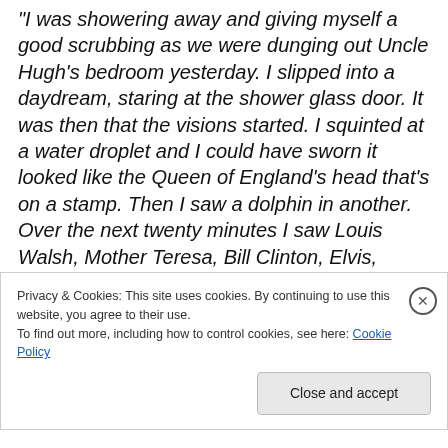“I was showering away and giving myself a good scrubbing as we were dunging out Uncle Hugh’s bedroom yesterday. I slipped into a daydream, staring at the shower glass door. It was then that the visions started. I squinted at a water droplet and I could have sworn it looked like the Queen of England’s head that’s on a stamp. Then I saw a dolphin in another. Over the next twenty minutes I saw Louis Walsh, Mother Teresa, Bill Clinton, Elvis, Dana, Birdie Sweeney, Brian Dooher and one of my neighbours. I called my husband in and he just stared at me in the shower, saying nothing. I think he was stunned.”
Privacy & Cookies: This site uses cookies. By continuing to use this website, you agree to their use.
To find out more, including how to control cookies, see here: Cookie Policy